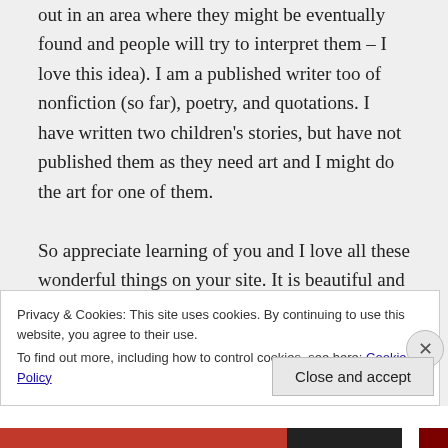out in an area where they might be eventually found and people will try to interpret them – I love this idea). I am a published writer too of nonfiction (so far), poetry, and quotations. I have written two children's stories, but have not published them as they need art and I might do the art for one of them.

So appreciate learning of you and I love all these wonderful things on your site. It is beautiful and definitely inspiring. Thank you.
Privacy & Cookies: This site uses cookies. By continuing to use this website, you agree to their use.
To find out more, including how to control cookies, see here: Cookie Policy